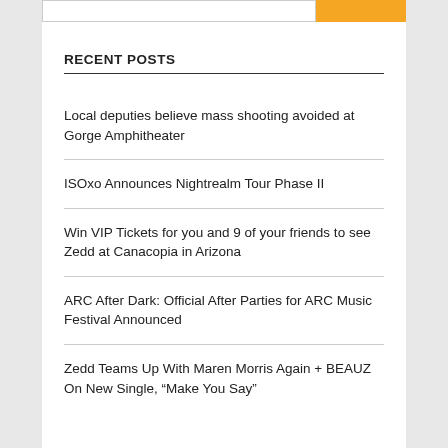Local deputies believe mass shooting avoided at Gorge Amphitheater
ISOxo Announces Nightrealm Tour Phase II
Win VIP Tickets for you and 9 of your friends to see Zedd at Canacopia in Arizona
ARC After Dark: Official After Parties for ARC Music Festival Announced
Zedd Teams Up With Maren Morris Again + BEAUZ On New Single, “Make You Say”